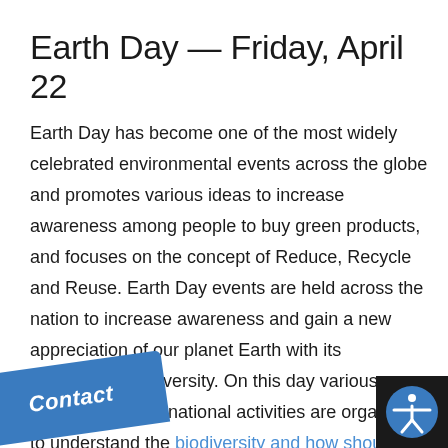Earth Day — Friday, April 22
Earth Day has become one of the most widely celebrated environmental events across the globe and promotes various ideas to increase awareness among people to buy green products, and focuses on the concept of Reduce, Recycle and Reuse. Earth Day events are held across the nation to increase awareness and gain a new appreciation of our planet Earth with its remarkable biodiversity. On this day various national and international activities are organized to understand the biodiversity and how should we protect our nature. Some of the ways that you can help to